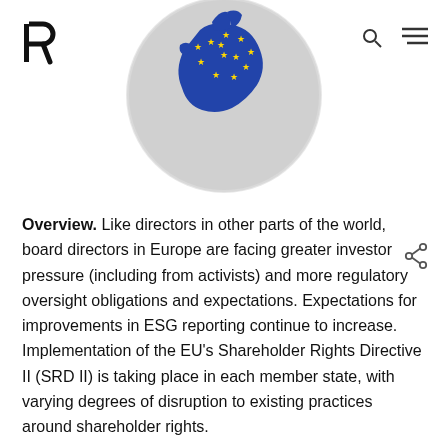[Figure (illustration): Globe with Europe highlighted in blue with yellow EU stars, shown in a circular frame]
Overview. Like directors in other parts of the world, board directors in Europe are facing greater investor pressure (including from activists) and more regulatory oversight obligations and expectations. Expectations for improvements in ESG reporting continue to increase. Implementation of the EU's Shareholder Rights Directive II (SRD II) is taking place in each member state, with varying degrees of disruption to existing practices around shareholder rights.
Impact of SRD II. SRD II strengthens shareholder